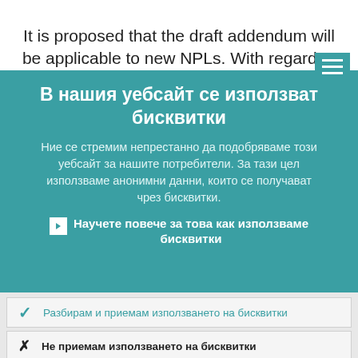It is proposed that the draft addendum will be applicable to new NPLs. With regard to
В нашия уебсайт се използват бисквитки
Ние се стремим непрестанно да подобряваме този уебсайт за нашите потребители. За тази цел използваме анонимни данни, които се получават чрез бисквитки.
▸ Научете повече за това как използваме бисквитки
✓ Разбирам и приемам използването на бисквитки
✕ Не приемам използването на бисквитки